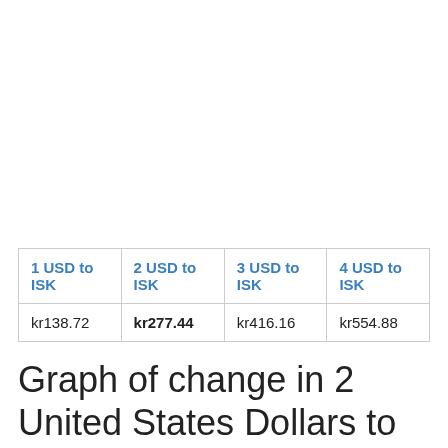| 1 USD to ISK | 2 USD to ISK | 3 USD to ISK | 4 USD to ISK |
| --- | --- | --- | --- |
| kr138.72 | kr277.44 | kr416.16 | kr554.88 |
Graph of change in 2 United States Dollars to Iceland Kronur rate